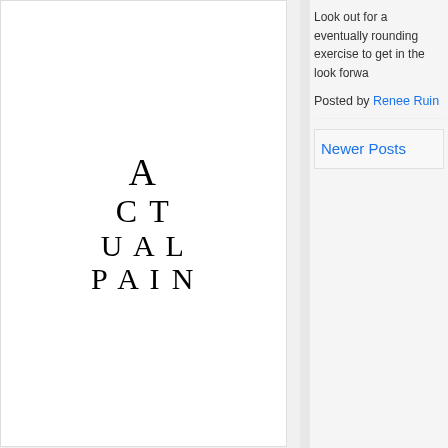[Figure (illustration): Text art showing 'ACTUAL PAIN' in large serif letters arranged on multiple lines: A, CT, UAL, PAIN]
Dirty Flaws
[Figure (illustration): Decorative tattoo-style logo reading 'DIRTY FLAWS' in Old English letters surrounded by scorpion illustrations]
The Vampires Wife
Look out for a eventually rounding exercise to get in the look forwa
Posted by Renee Ruin
Newer Posts